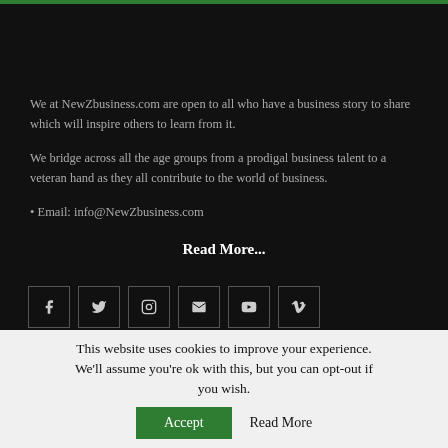We at NewZbusiness.com are open to all who have a business story to share which will inspire others to learn from it.
We bridge across all the age groups from a prodigal business talent to a veteran hand as they all contribute to the world of business.
• Email: info@NewZbusiness.com
Read More...
[Figure (other): Row of six social media icons: Facebook, Twitter, Instagram, Email/Envelope, YouTube, Vimeo]
▶ Home
This website uses cookies to improve your experience. We'll assume you're ok with this, but you can opt-out if you wish. Accept   Read More